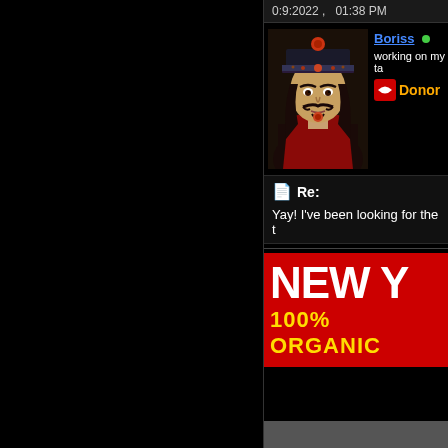0:9:2022 ,   01:38 PM
[Figure (photo): Portrait painting of Vlad the Impaler (historical figure with mustache, wearing ornate hat with jewels, long dark hair, red and black garments)]
Boriss (online) working on my ta... Donor
📄 Re:
Yay! I've been looking for the t...
[Figure (infographic): Red banner advertisement with white bold text 'NEW Y' and yellow text '100% ORGANIC']
0:9:2022 ,   02:22 PM
tompots (online dot)